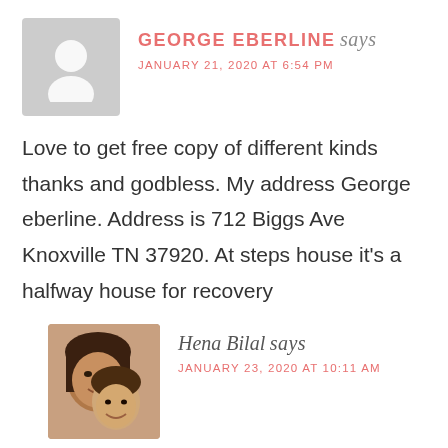[Figure (illustration): Grey placeholder avatar silhouette of a person on a grey background]
GEORGE EBERLINE says
JANUARY 21, 2020 AT 6:54 PM
Love to get free copy of different kinds thanks and godbless. My address George eberline. Address is 712 Biggs Ave Knoxville TN 37920. At steps house it's a halfway house for recovery
[Figure (photo): Photo of a woman and a young boy smiling together]
Hena Bilal says
JANUARY 23, 2020 AT 10:11 AM